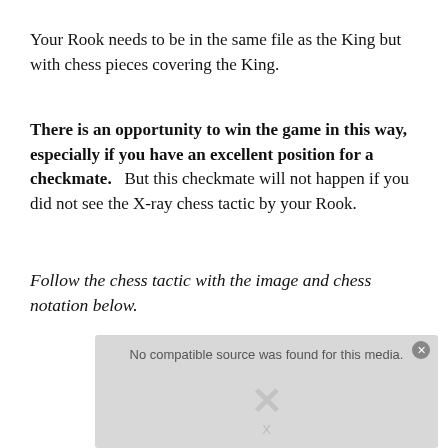Your Rook needs to be in the same file as the King but with chess pieces covering the King.
There is an opportunity to win the game in this way, especially if you have an excellent position for a checkmate.   But this checkmate will not happen if you did not see the X-ray chess tactic by your Rook.
Follow the chess tactic with the image and chess notation below.
[Figure (screenshot): Video player placeholder showing 'No compatible source was found for this media.' with a grey background and an X symbol overlay.]